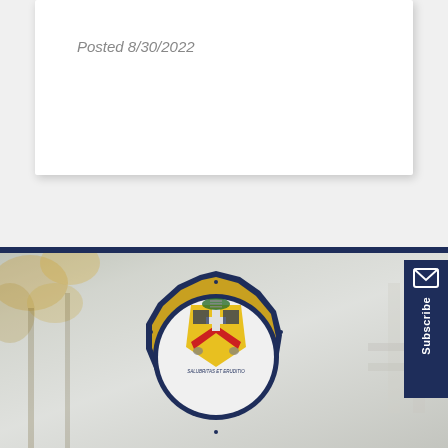Posted 8/30/2022
[Figure (logo): Township of Cheltenham Pennsylvania official seal/logo — circular badge with navy blue border, gold ring with text 'TOWNSHIP OF CHELTENHAM PENNSYLVANIA', coat of arms shield with red chevron on yellow background, cross symbol, birds, and motto 'SALUBRITAS ET ERUDITIO']